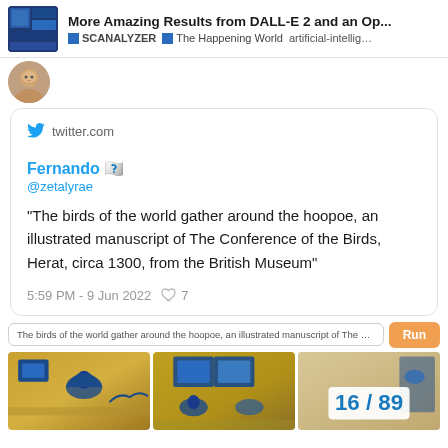More Amazing Results from DALL-E 2 and an Op... | SCANALYZER | The Happening World | artificial-intellig...
[Figure (screenshot): Website screenshot showing a tweet embed with Twitter bird icon, user Fernando @zetalyrae, tweet text about birds of the world gathering around the hoopoe, an illustrated manuscript, and a search/run interface with manuscript images below]
twitter.com
Fernando 🇺🇺
@zetalyrae
“The birds of the world gather around the hoopoe, an illustrated manuscript of The Conference of the Birds, Herat, circa 1300, from the British Museum”
5:59 PM - 9 Jun 2022 ♥ 7
The birds of the world gather around the hoopoe, an illustrated manuscript of The Conference of the Birds, Hera
Run
16 / 89